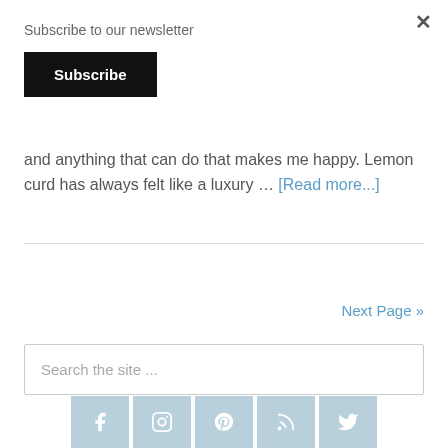Subscribe to our newsletter
Subscribe
and anything that can do that makes me happy. Lemon curd has always felt like a luxury … [Read more...]
Next Page »
Search the site ...
[Figure (infographic): Social media icons row: Facebook, Instagram, Pinterest, RSS, Twitter on light blue background tiles]